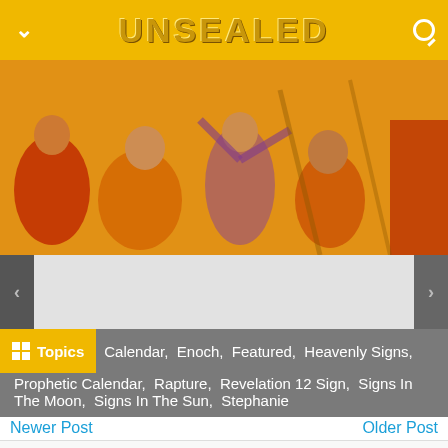UNSEALED
[Figure (illustration): Colorful painting of biblical figures in orange, yellow and red tones, gesturing with outstretched arms]
[Figure (screenshot): Slider navigation area with left and right arrow buttons and a gray center panel]
Topics  Calendar,  Enoch,  Featured,  Heavenly Signs,  Prophetic Calendar,  Rapture,  Revelation 12 Sign,  Signs In The Moon,  Signs In The Sun,  Stephanie
Newer Post
Older Post
Post A Comment